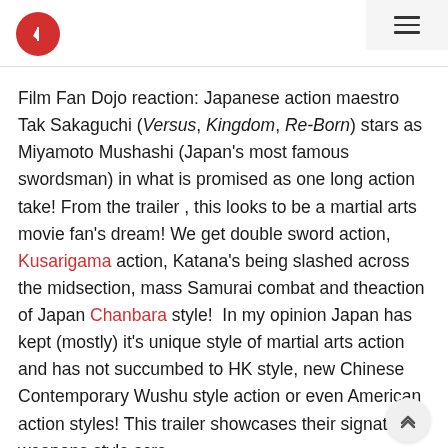Film Fan Dojo logo and navigation menu
Film Fan Dojo reaction: Japanese action maestro Tak Sakaguchi (Versus, Kingdom, Re-Born) stars as Miyamoto Mushashi (Japan's most famous swordsman) in what is promised as one long action take! From the trailer , this looks to be a martial arts movie fan's dream! We get double sword action, Kusarigama action, Katana's being slashed across the midsection, mass Samurai combat and theaction of Japan Chanbara style!  In my opinion Japan has kept (mostly) it's unique style of martial arts action and has not succumbed to HK style, new Chinese Contemporary Wushu style action or even American action styles! This trailer showcases their signature weapons style scre combat!